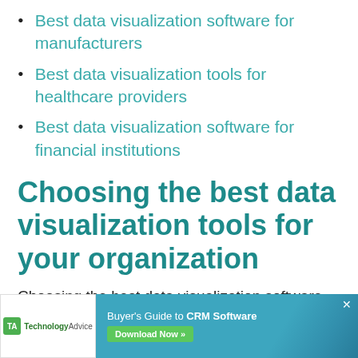Best data visualization software for manufacturers
Best data visualization tools for healthcare providers
Best data visualization software for financial institutions
Choosing the best data visualization tools for your organization
Choosing the best data visualization software for your organization depends on your specific needs, industry, and are
[Figure (other): Advertisement banner: TechnologyAdvice logo on left white panel, right panel in teal/blue with 'Buyer's Guide to CRM Software' text and 'Download Now' green button, with close X button]